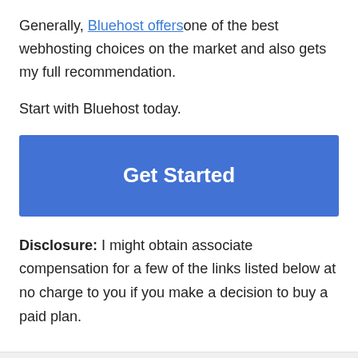Generally, Bluehost offers one of the best webhosting choices on the market and also gets my full recommendation.
Start with Bluehost today.
[Figure (other): Blue 'Get Started' call-to-action button]
Disclosure: I might obtain associate compensation for a few of the links listed below at no charge to you if you make a decision to buy a paid plan.
← Previous Post    Next Post →